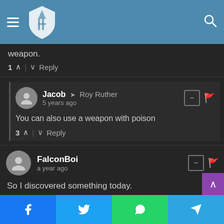[Figure (screenshot): Website header with hamburger menu, shield logo, and search icon on blue background]
weapon.
1 ∧ | ∨ Reply
Jacob → Roy Ruther
5 years ago
You can also use a weapon with poison
3 ∧ | ∨ Reply
FalconBoi
a year ago
So I discovered something today.
As I was cleaning a random outpost, I killed the Stranger by accident and it dropped the Sarissa. Now here's the weird part: I was level 9 and he was level 6. What just happened?
∧ | ∨ Reply
[Figure (screenshot): Social share bar with Facebook, Twitter, WhatsApp, and Telegram buttons]